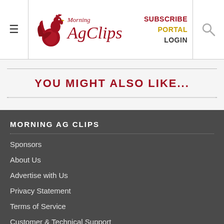Morning AgClips — SUBSCRIBE PORTAL LOGIN
YOU MIGHT ALSO LIKE...
MORNING AG CLIPS
Sponsors
About Us
Advertise with Us
Privacy Statement
Terms of Service
Customer & Technical Support